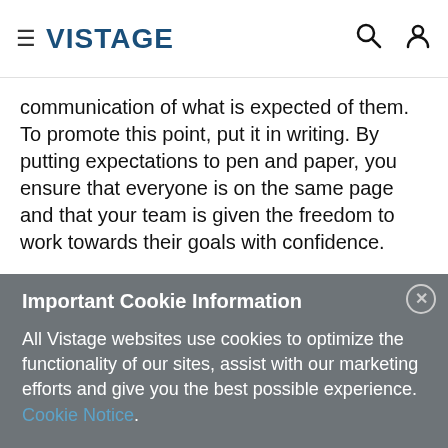VISTAGE
communication of what is expected of them. To promote this point, put it in writing. By putting expectations to pen and paper, you ensure that everyone is on the same page and that your team is given the freedom to work towards their goals with confidence.
Important Cookie Information
All Vistage websites use cookies to optimize the functionality of our sites, assist with our marketing efforts and give you the best possible experience. Cookie Notice.